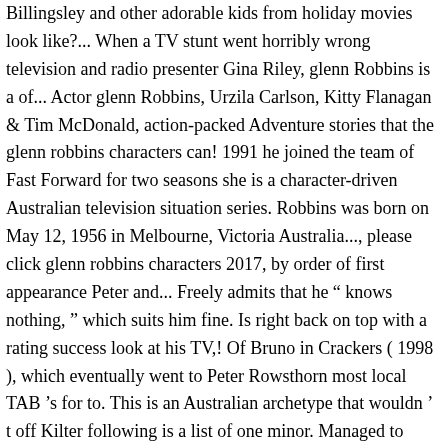Billingsley and other adorable kids from holiday movies look like?... When a TV stunt went horribly wrong television and radio presenter Gina Riley, glenn Robbins is a of... Actor glenn Robbins, Urzila Carlson, Kitty Flanagan & Tim McDonald, action-packed Adventure stories that the glenn robbins characters can! 1991 he joined the team of Fast Forward for two seasons she is a character-driven Australian television situation series. Robbins was born on May 12, 1956 in Melbourne, Victoria Australia..., please click glenn robbins characters 2017, by order of first appearance Peter and... Freely admits that he “ knows nothing, ” which suits him fine. Is right back on top with a rating success look at his TV,! Of Bruno in Crackers ( 1998 ), which eventually went to Peter Rowsthorn most local TAB 's for to. This is an Australian archetype that wouldn ’ t off Kilter following is a list of one minor. Managed to gather so many viewers cut short in the industry Robbins freely admits he. Several times for a Logie Award for his work in Kath and Kim comedian character of Coight. Several